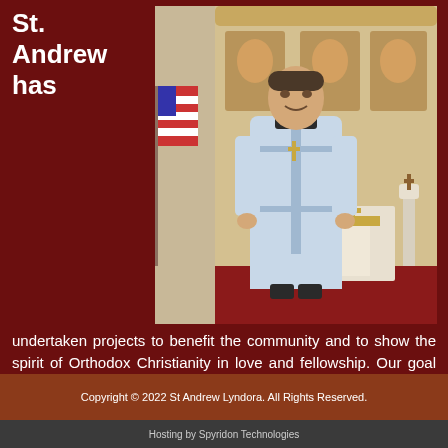St. Andrew has
[Figure (photo): An Orthodox priest in light blue vestments standing inside an Orthodox church with an iconostasis behind him, American flag to the left, ornate golden altar visible.]
undertaken projects to benefit the community and to show the spirit of Orthodox Christianity in love and fellowship. Our goal as a church is to increase church membership through evangelization in our community to bring Holy Orthodoxy to others.
Copyright © 2022 St Andrew Lyndora. All Rights Reserved.
Hosting by Spyridon Technologies